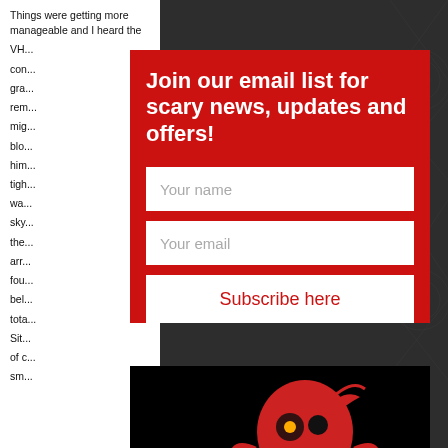Things were getting more manageable and I heard the VH... con... gra... rem... mig... blo... him... tigh... wa... sky... the... arr... fou... bel... tota... Sit... of c... sm...
Join our email list for scary news, updates and offers!
Your name
Your email
Subscribe here
[Figure (logo): My Haunted Life Too logo — red skull with eye-patch and tentacles, white stylized text on black background]